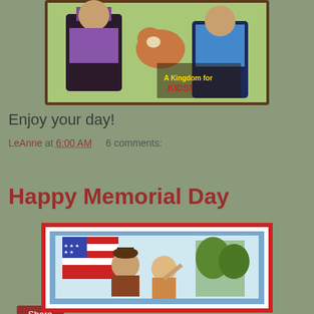[Figure (illustration): Illustration of two children and a dog in front of a sign reading 'A Kingdom for KIDS!']
Enjoy your day!
LeAnne at 6:00 AM    6 comments:
Share
Happy Memorial Day
[Figure (illustration): Patriotic illustration of children with an American flag, framed in red, white, and blue border]